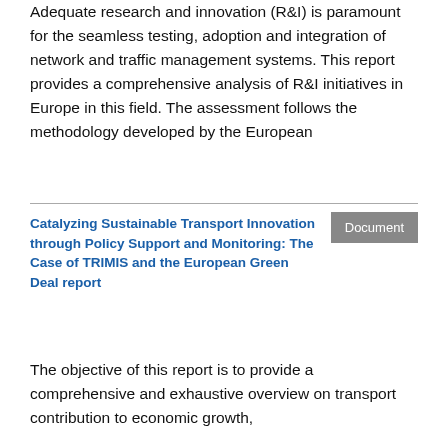Adequate research and innovation (R&I) is paramount for the seamless testing, adoption and integration of network and traffic management systems. This report provides a comprehensive analysis of R&I initiatives in Europe in this field. The assessment follows the methodology developed by the European
Catalyzing Sustainable Transport Innovation through Policy Support and Monitoring: The Case of TRIMIS and the European Green Deal report
Document
The objective of this report is to provide a comprehensive and exhaustive overview on transport contribution to economic growth,